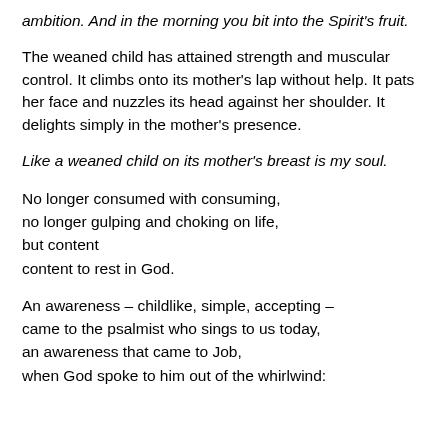ambition. And in the morning you bit into the Spirit's fruit.
The weaned child has attained strength and muscular control. It climbs onto its mother's lap without help. It pats her face and nuzzles its head against her shoulder. It delights simply in the mother's presence.
Like a weaned child on its mother's breast is my soul.
No longer consumed with consuming,
no longer gulping and choking on life,
but content
content to rest in God.
An awareness – childlike, simple, accepting –
came to the psalmist who sings to us today,
an awareness that came to Job,
when God spoke to him out of the whirlwind: